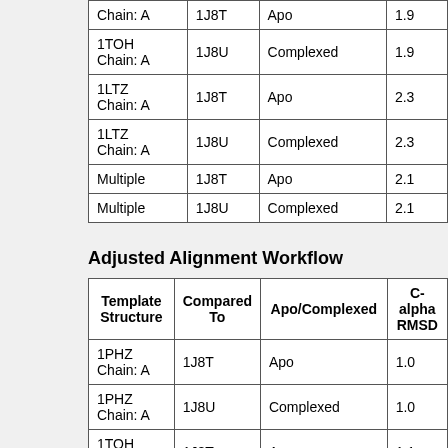| Template Structure | Compared To | Apo/Complexed | C-alpha RMSD |
| --- | --- | --- | --- |
| Chain: A | 1J8T | Apo | 1.9 |
| 1TOH Chain: A | 1J8U | Complexed | 1.9 |
| 1LTZ Chain: A | 1J8T | Apo | 2.3 |
| 1LTZ Chain: A | 1J8U | Complexed | 2.3 |
| Multiple | 1J8T | Apo | 2.1 |
| Multiple | 1J8U | Complexed | 2.1 |
Adjusted Alignment Workflow
| Template Structure | Compared To | Apo/Complexed | C-alpha RMSD |
| --- | --- | --- | --- |
| 1PHZ Chain: A | 1J8T | Apo | 1.0 |
| 1PHZ Chain: A | 1J8U | Complexed | 1.0 |
| 1TOH Chain: A | 1J8T | Apo | 1,1 |